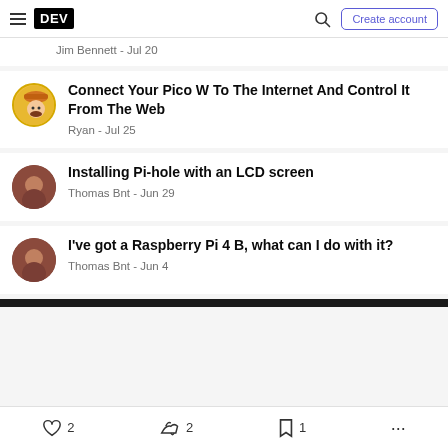DEV — Create account
Jim Bennett - Jul 20
Connect Your Pico W To The Internet And Control It From The Web
Ryan - Jul 25
Installing Pi-hole with an LCD screen
Thomas Bnt - Jun 29
I've got a Raspberry Pi 4 B, what can I do with it?
Thomas Bnt - Jun 4
2  2  1  ...